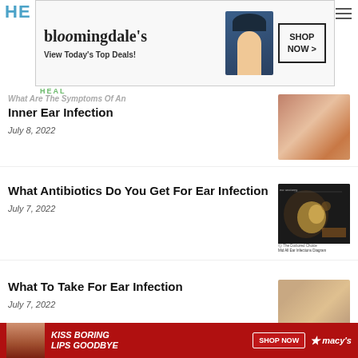HE... HEAL...
[Figure (photo): Bloomingdale's advertisement banner - View Today's Top Deals! SHOP NOW]
What Are The Symptoms Of An Inner Ear Infection
July 8, 2022
[Figure (photo): Close-up photo of an ear canal]
What Antibiotics Do You Get For Ear Infection
July 7, 2022
[Figure (illustration): Anatomical diagram of the ear showing inner ear structures with labels and yellow highlighted areas]
What To Take For Ear Infection
July 7, 2022
[Figure (photo): Close-up photo of an ear with CLOSE button overlay]
[Figure (photo): Macy's advertisement - KISS BORING LIPS GOODBYE - SHOP NOW]